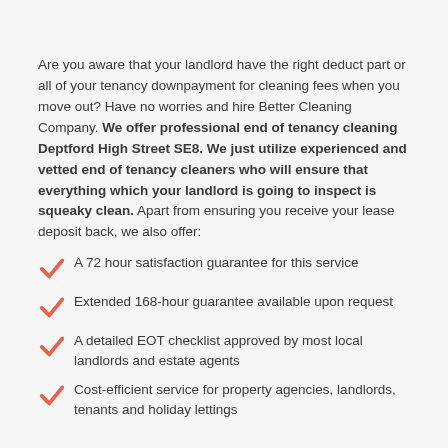Are you aware that your landlord have the right deduct part or all of your tenancy downpayment for cleaning fees when you move out? Have no worries and hire Better Cleaning Company. We offer professional end of tenancy cleaning Deptford High Street SE8. We just utilize experienced and vetted end of tenancy cleaners who will ensure that everything which your landlord is going to inspect is squeaky clean. Apart from ensuring you receive your lease deposit back, we also offer:
A 72 hour satisfaction guarantee for this service
Extended 168-hour guarantee available upon request
A detailed EOT checklist approved by most local landlords and estate agents
Cost-efficient service for property agencies, landlords, tenants and holiday lettings